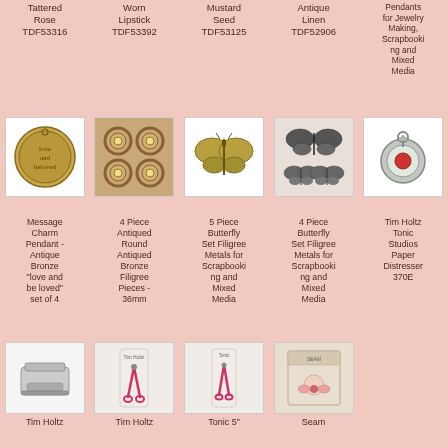Tattered Rose TDF53316 | Worn Lipstick TDF53392 | Mustard Seed TDF53125 | Antique Linen TDF52906 | Pendants for Jewelry Making, Scrapbooking and Mixed Media
[Figure (photo): Antique bronze coin charm pendant with 'love and beloved' text]
[Figure (photo): 4 piece antiqued round bronze filigree pieces arranged in 2x2 grid]
[Figure (photo): 5 piece butterfly set filigree metal, gold/bronze colored butterfly]
[Figure (photo): 4 piece butterfly set filigree metals, dark stamp-style butterflies on light background]
[Figure (photo): Tim Holtz Tonic Studios Paper Distresser 370E - gear-shaped tool with red center]
Message Charm Pendant - Antique Bronze "love and be loved" set of 4
4 Piece Antiqued Round Antiqued Bronze Filigree Pieces - 36mm
5 Piece Butterfly Set Filigree Metals for Scrapbooking and Mixed Media
4 Piece Butterfly Set Filigree Metals for Scrapbooking and Mixed Media
Tim Holtz Tonic Studios Paper Distresser 370E
[Figure (photo): Tim Holtz paper distresser tool - grey rectangular device]
[Figure (photo): Tim Holtz scissors on packaging card with pink/red scissors]
[Figure (photo): Tonic 5 inch scissors on packaging card]
[Figure (photo): Seam product - decorative notepad/card with floral pink bow decoration]
Tim Holtz
Tim Holtz
Tonic 5"
Seam